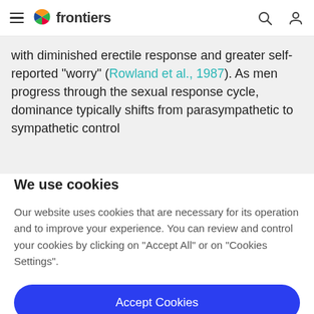frontiers
with diminished erectile response and greater self-reported “worry” (Rowland et al., 1987). As men progress through the sexual response cycle, dominance typically shifts from parasympathetic to sympathetic control
We use cookies
Our website uses cookies that are necessary for its operation and to improve your experience. You can review and control your cookies by clicking on “Accept All” or on “Cookies Settings”.
Accept Cookies
Cookies Settings